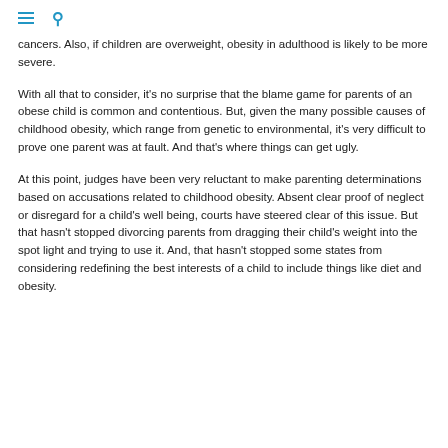≡ 🔍
cancers. Also, if children are overweight, obesity in adulthood is likely to be more severe.
With all that to consider, it's no surprise that the blame game for parents of an obese child is common and contentious. But, given the many possible causes of childhood obesity, which range from genetic to environmental, it's very difficult to prove one parent was at fault. And that's where things can get ugly.
At this point, judges have been very reluctant to make parenting determinations based on accusations related to childhood obesity. Absent clear proof of neglect or disregard for a child's well being, courts have steered clear of this issue. But that hasn't stopped divorcing parents from dragging their child's weight into the spot light and trying to use it. And, that hasn't stopped some states from considering redefining the best interests of a child to include things like diet and obesity.